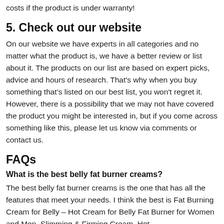costs if the product is under warranty!
5. Check out our website
On our website we have experts in all categories and no matter what the product is, we have a better review or list about it. The products on our list are based on expert picks, advice and hours of research. That's why when you buy something that's listed on our best list, you won't regret it. However, there is a possibility that we may not have covered the product you might be interested in, but if you come across something like this, please let us know via comments or contact us.
FAQs
What is the best belly fat burner creams?
The best belly fat burner creams is the one that has all the features that meet your needs. I think the best is Fat Burning Cream for Belly – Hot Cream for Belly Fat Burner for Women and Men, Slimming & Firming Cream, Hot